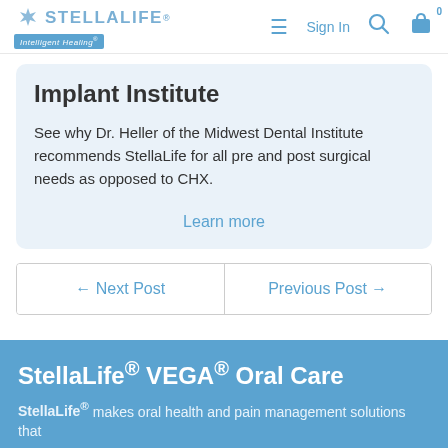StellaLife Intelligent Healing — Sign In — Search — Cart 0
Implant Institute
See why Dr. Heller of the Midwest Dental Institute recommends StellaLife for all pre and post surgical needs as opposed to CHX.
Learn more
← Next Post   Previous Post →
StellaLife® VEGA® Oral Care
StellaLife® makes oral health and pain management solutions that